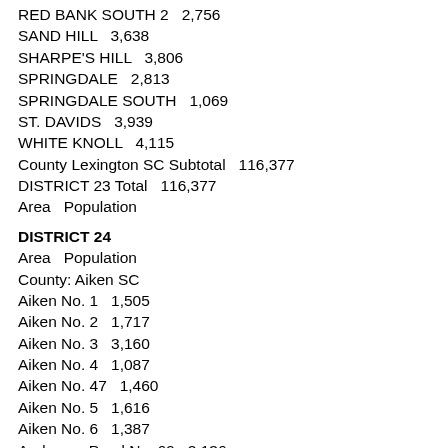RED BANK SOUTH 2   2,756
SAND HILL   3,638
SHARPE'S HILL   3,806
SPRINGDALE   2,813
SPRINGDALE SOUTH   1,069
ST. DAVIDS   3,939
WHITE KNOLL   4,115
County Lexington SC Subtotal   116,377
DISTRICT 23 Total   116,377
Area   Population
DISTRICT 24
Area   Population
County: Aiken SC
Aiken No. 1   1,505
Aiken No. 2   1,717
Aiken No. 3   3,160
Aiken No. 4   1,087
Aiken No. 47   1,460
Aiken No. 5   1,616
Aiken No. 6   1,387
Anderson Pond No. 69   2,136
Beech Island   2,354
Belvedere No. 62   1,827
Belvedere No. 9   2,621
Carolina Heights   2,009